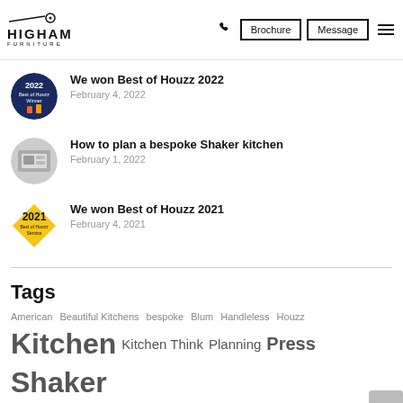HIGHAM FURNITURE | Brochure | Message
We won Best of Houzz 2022 — February 4, 2022
How to plan a bespoke Shaker kitchen — February 1, 2022
We won Best of Houzz 2021 — February 4, 2021
Tags
American  Beautiful Kitchens  bespoke  Blum  Handleless  Houzz  Kitchen  Kitchen Think  Planning  Press  Shaker  Woking